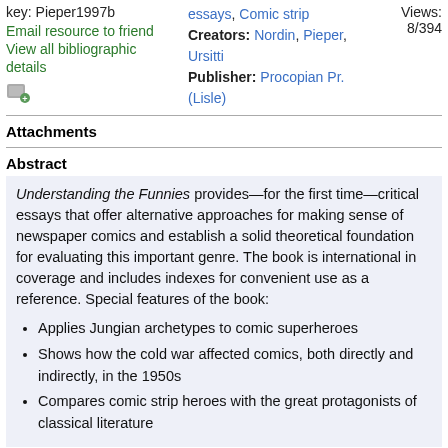key: Pieper1997b
Email resource to friend
View all bibliographic details
essays, Comic strip
Creators: Nordin, Pieper, Ursitti
Publisher: Procopian Pr. (Lisle)
Views:
8/394
Attachments
Abstract
Understanding the Funnies provides—for the first time—critical essays that offer alternative approaches for making sense of newspaper comics and establish a solid theoretical foundation for evaluating this important genre. The book is international in coverage and includes indexes for convenient use as a reference. Special features of the book:
Applies Jungian archetypes to comic superheroes
Shows how the cold war affected comics, both directly and indirectly, in the 1950s
Compares comic strip heroes with the great protagonists of classical literature